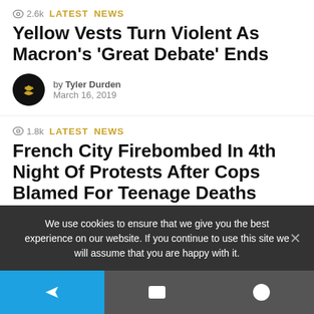2.6k  LATEST  NEWS
Yellow Vests Turn Violent As Macron's 'Great Debate' Ends
by Tyler Durden
March 16, 2019
1.8k  LATEST  NEWS
French City Firebombed In 4th Night Of Protests After Cops Blamed For Teenage Deaths
by Tyler Durden
March 8, 2019
We use cookies to ensure that we give you the best experience on our website. If you continue to use this site we will assume that you are happy with it.